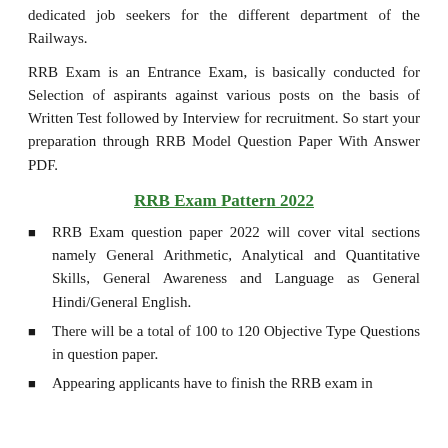dedicated job seekers for the different department of the Railways.
RRB Exam is an Entrance Exam, is basically conducted for Selection of aspirants against various posts on the basis of Written Test followed by Interview for recruitment. So start your preparation through RRB Model Question Paper With Answer PDF.
RRB Exam Pattern 2022
RRB Exam question paper 2022 will cover vital sections namely General Arithmetic, Analytical and Quantitative Skills, General Awareness and Language as General Hindi/General English.
There will be a total of 100 to 120 Objective Type Questions in question paper.
Appearing applicants have to finish the RRB exam in